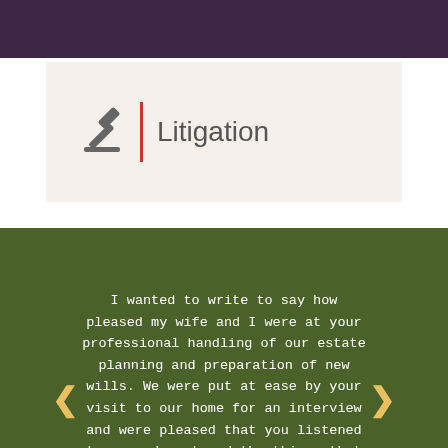Litigation
I wanted to write to say how pleased my wife and I were at your professional handling of our estate planning and preparation of new wills. We were put at ease by your visit to our home for an interview and were pleased that you listened to us and captured the things that we felt were important. –Robert and Christine Simonson, Fairport